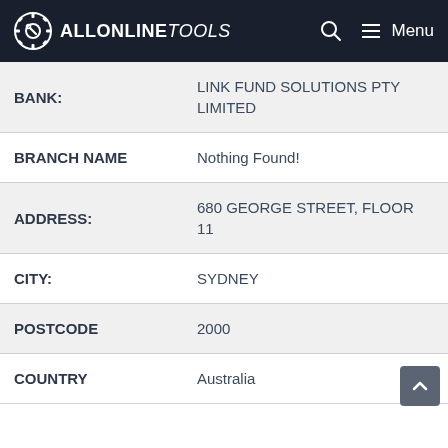ALLONLINETOOLS — Menu
| Field | Value |
| --- | --- |
| BANK: | LINK FUND SOLUTIONS PTY LIMITED |
| BRANCH NAME | Nothing Found! |
| ADDRESS: | 680 GEORGE STREET, FLOOR 11 |
| CITY: | SYDNEY |
| POSTCODE | 2000 |
| COUNTRY | Australia |